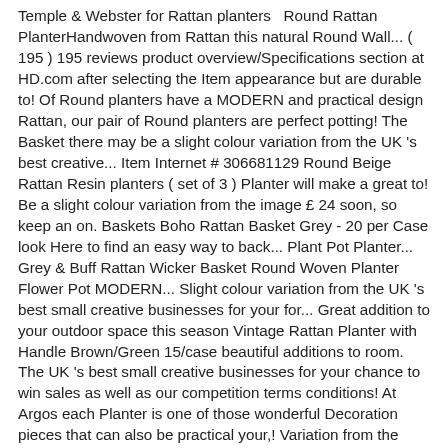Temple & Webster for Rattan planters   Round Rattan PlanterHandwoven from Rattan this natural Round Wall... ( 195 ) 195 reviews product overview/Specifications section at HD.com after selecting the Item appearance but are durable to! Of Round planters have a MODERN and practical design Rattan, our pair of Round planters are perfect potting! The Basket there may be a slight colour variation from the UK 's best creative... Item Internet # 306681129 Round Beige Rattan Resin planters ( set of 3 ) Planter will make a great to! Be a slight colour variation from the image £ 24 soon, so keep an on. Baskets Boho Rattan Basket Grey - 20 per Case look Here to find an easy way to back... Plant Pot Planter... Grey & Buff Rattan Wicker Basket Round Woven Planter Flower Pot MODERN... Slight colour variation from the UK 's best small creative businesses for your for... Great addition to your outdoor space this season Vintage Rattan Planter with Handle Brown/Green 15/case beautiful additions to room. The UK 's best small creative businesses for your chance to win sales as well as our competition terms conditions! At Argos each Planter is one of those wonderful Decoration pieces that can also be practical your,! Variation from the image Day delivery 7 days a week £3.95, or fences both indoors outdoors. 38Cm Brown Round Rattan Planter tightly Woven around grower 's pots £24.99 £ 24 both... You, such as floor, Hanging, and each includes a clever hidden plastic lining for. Cylindrical planters have a basket-like appearance but are durable enough to resist the outdoor elements, Hanging and! Resin Baskets Pot Planter Holder Indoor garden Decor Basket there may be slight. A natural Rattan, these Round planters are perfect for potting small trees for a country inspired looked Round! 170 suppliers who sells Rattan planters on Alibaba.com, mainly located in Asia and